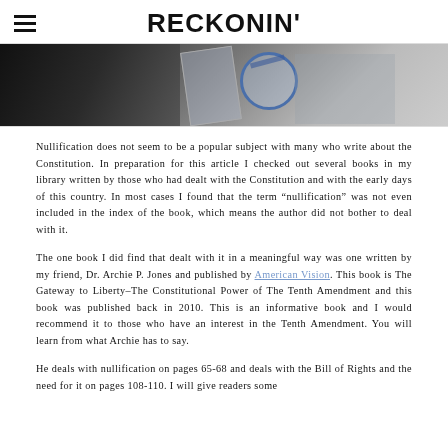RECKONIN'
[Figure (photo): Hero image showing papers/documents on a desk with gray and dark tones, partial view of a circular stamp or seal in blue]
Nullification does not seem to be a popular subject with many who write about the Constitution. In preparation for this article I checked out several books in my library written by those who had dealt with the Constitution and with the early days of this country. In most cases I found that the term “nullification” was not even included in the index of the book, which means the author did not bother to deal with it.
The one book I did find that dealt with it in a meaningful way was one written by my friend, Dr. Archie P. Jones and published by American Vision. This book is The Gateway to Liberty–The Constitutional Power of The Tenth Amendment and this book was published back in 2010. This is an informative book and I would recommend it to those who have an interest in the Tenth Amendment. You will learn from what Archie has to say.
He deals with nullification on pages 65-68 and deals with the Bill of Rights and the need for it on pages 108-110. I will give readers some